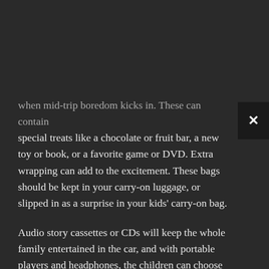when mid-trip boredom kicks in. These can contain special treats like a chocolate or fruit bar, a new toy or book, or a favorite game or DVD. Extra wrapping can add to the excitement. These bags should be kept in your carry-on luggage, or slipped in as a surprise in your kids' carry-on bag.
Audio story cassettes or CDs will keep the whole family entertained in the car, and with portable players and headphones, the children can choose what they want on a train or plane—just remember to bring spare batteries. A small bag of notebooks with pencils attached on a string or crayons and paper is a good stand-by for younger children.